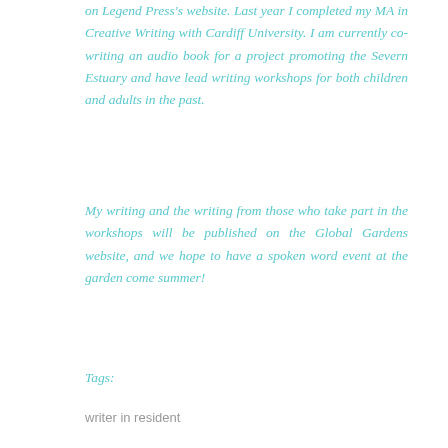on Legend Press's website. Last year I completed my MA in Creative Writing with Cardiff University. I am currently co-writing an audio book for a project promoting the Severn Estuary and have lead writing workshops for both children and adults in the past.
My writing and the writing from those who take part in the workshops will be published on the Global Gardens website, and we hope to have a spoken word event at the garden come summer!
Tags:
writer in resident